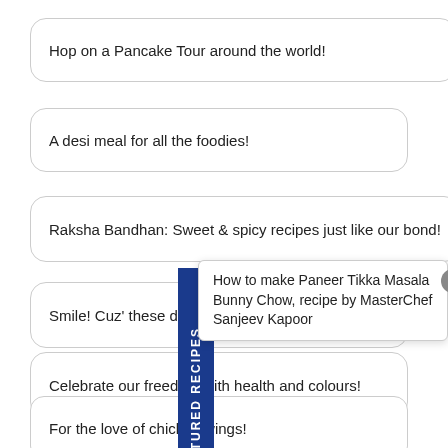Hop on a Pancake Tour around the world!
A desi meal for all the foodies!
Raksha Bandhan: Sweet & spicy recipes just like our bond!
Smile! Cuz' these dis[h...]
[Figure (other): Featured Recipes vertical blue banner with tooltip showing 'How to make Paneer Tikka Masala Bunny Chow, recipe by MasterChef Sanjeev Kapoor' and a close button]
Celebrate our freedom with health and colours!
For the love of chicken wings!